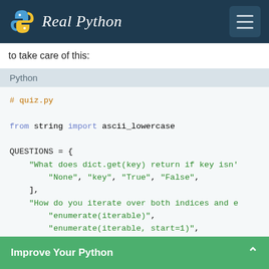Real Python
to take care of this:
[Figure (screenshot): Python code block with language label 'Python', showing quiz.py code with from string import ascii_lowercase and QUESTIONS dictionary]
Improve Your Python